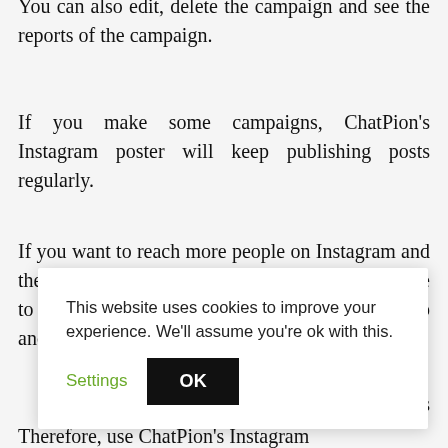You can also edit, delete the campaign and see the reports of the campaign.
If you make some campaigns, ChatPion's Instagram poster will keep publishing posts regularly.
If you want to reach more people on Instagram and then make them your valuable customers, you have to publish posts regularly. Since it is a tedious job and sometimes, you will forget to publish …atPion's …oost on …isturbing
Therefore, use ChatPion's Instagram
[Figure (screenshot): Cookie consent banner overlay with text 'This website uses cookies to improve your experience. We'll assume you're ok with this.' and buttons 'Settings' (green text) and 'OK' (black button).]